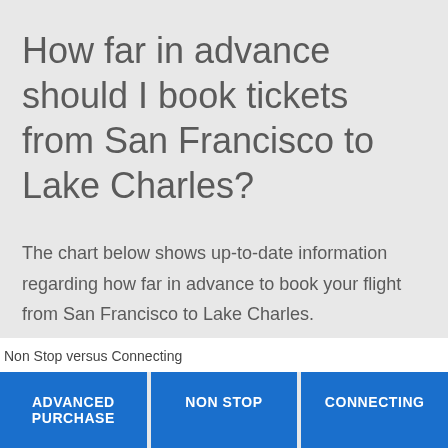How far in advance should I book tickets from San Francisco to Lake Charles?
The chart below shows up-to-date information regarding how far in advance to book your flight from San Francisco to Lake Charles.
Non Stop versus Connecting
ADVANCED PURCHASE
NON STOP
CONNECTING